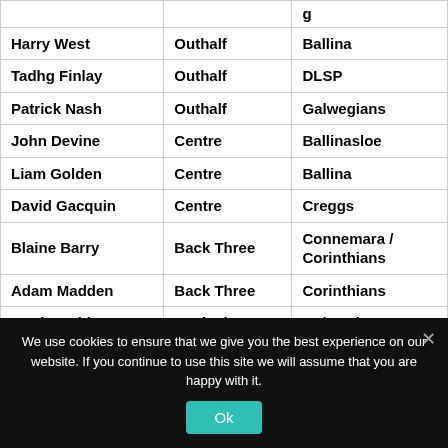| Name | Position | Club |
| --- | --- | --- |
| Harry West | Outhalf | Ballina |
| Tadhg Finlay | Outhalf | DLSP |
| Patrick Nash | Outhalf | Galwegians |
| John Devine | Centre | Ballinasloe |
| Liam Golden | Centre | Ballina |
| David Gacquin | Centre | Creggs |
| Blaine Barry | Back Three | Connemara / Corinthians |
| Adam Madden | Back Three | Corinthians |
| Hugh Reddan | Back Three | Galwegians |
We use cookies to ensure that we give you the best experience on our website. If you continue to use this site we will assume that you are happy with it.